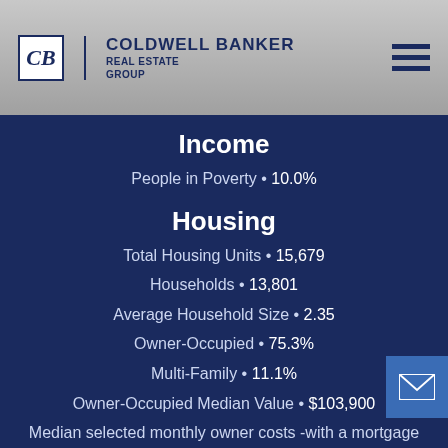COLDWELL BANKER REAL ESTATE GROUP
Income
People in Poverty • 10.0%
Housing
Total Housing Units • 15,679
Households • 13,801
Average Household Size • 2.35
Owner-Occupied • 75.3%
Multi-Family • 11.1%
Owner-Occupied Median Value • $103,900
Median selected monthly owner costs -with a mortgage • $1,083
Median selected monthly owner costs -without a mortgage • $505